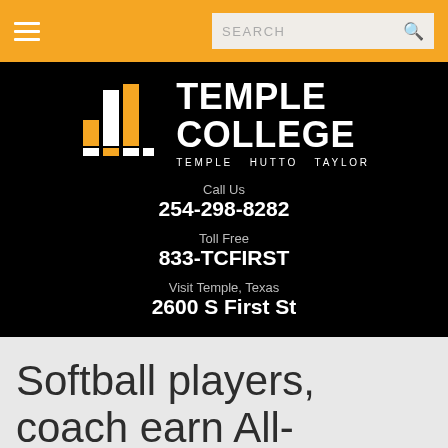[Figure (logo): Temple College logo with hamburger menu and search bar navigation header on gold/amber background]
[Figure (logo): Temple College logo: bar chart icon in white and gold with TEMPLE COLLEGE text and TEMPLE HUTTO TAYLOR tagline on black background]
Call Us
254-298-8282
Toll Free
833-TCFIRST
Visit Temple, Texas
2600 S First St
Softball players, coach earn All-Conference